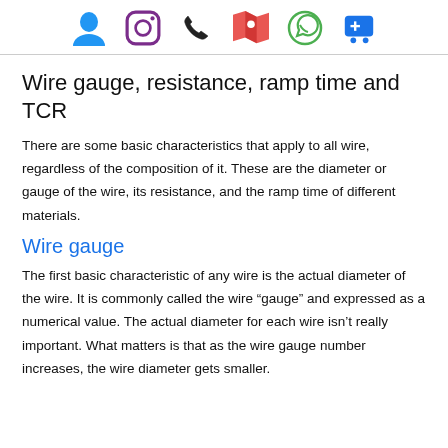[icons: user, instagram, phone, map, whatsapp, cart]
Wire gauge, resistance, ramp time and TCR
There are some basic characteristics that apply to all wire, regardless of the composition of it. These are the diameter or gauge of the wire, its resistance, and the ramp time of different materials.
Wire gauge
The first basic characteristic of any wire is the actual diameter of the wire. It is commonly called the wire “gauge” and expressed as a numerical value. The actual diameter for each wire isn’t really important. What matters is that as the wire gauge number increases, the wire diameter gets smaller.